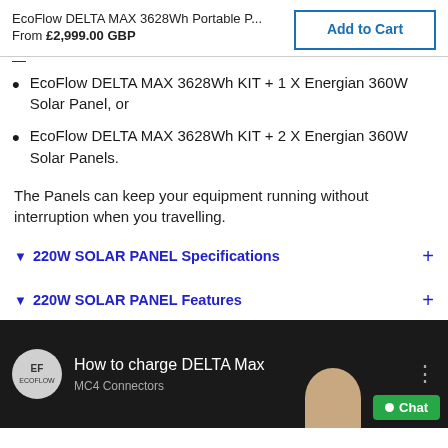EcoFlow DELTA MAX 3628Wh Portable P...
From £2,999.00 GBP
EcoFlow DELTA MAX 3628Wh KIT + 1 X Energian 360W Solar Panel, or
EcoFlow DELTA MAX 3628Wh KIT + 2 X Energian 360W Solar Panels.
The Panels can keep your equipment running without interruption when you travelling.
▼ 220W SOLAR PANEL Specifications +
▼ 220W SOLAR PANEL Features +
[Figure (screenshot): Video thumbnail showing 'How to charge DELTA Max' with EcoFlow logo, MC4 Connectors subtitle, and a Chat button]